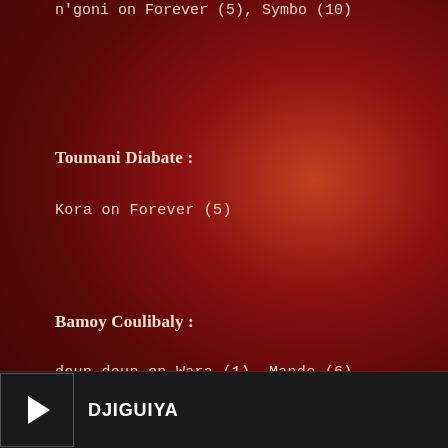n'goni on Forever (5), Symbo (10)
Toumani Diabate :
Kora on Forever (5)
Bamoy Coulibaly :
doun doun on Wara (1), Mande (6)
Apolinar Boconon, Omega Atumo, Alexandre
DJIGUIYA